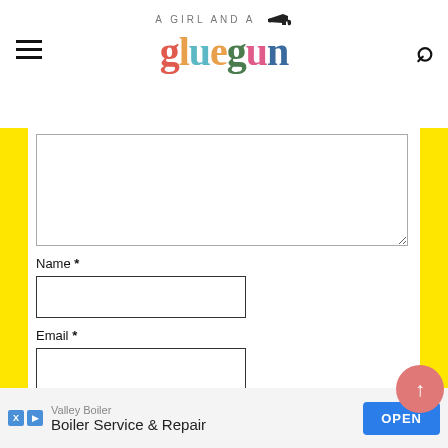A Girl and a Glue Gun
Name *
Email *
POST COMMENT
[Figure (screenshot): Advertisement: Valley Boiler - Boiler Service & Repair with OPEN button]